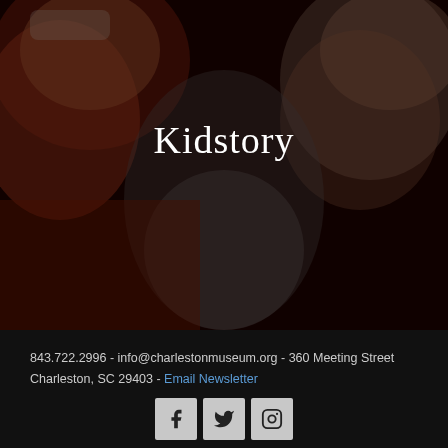[Figure (photo): Dark-toned overhead photo of two laughing children's faces looking up at the camera, with a dark red/brown overlay]
Kidstory
843.722.2996 - info@charlestonmuseum.org - 360 Meeting Street
Charleston, SC 29403 - Email Newsletter